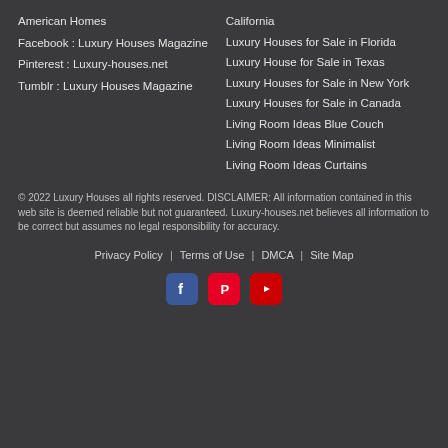American Homes
Facebook : Luxury Houses Magazine
Pinterest : Luxury-houses.net
Tumblr : Luxury Houses Magazine
California
Luxury Houses for Sale in Florida
Luxury House for Sale in Texas
Luxury Houses for Sale in New York
Luxury Houses for Sale in Canada
Living Room Ideas Blue Couch
Living Room Ideas Minimalist
Living Room Ideas Curtains
© 2022 Luxury Houses all rights reserved. DISCLAIMER: All information contained in this web site is deemed reliable but not guaranteed. Luxury-houses.net believes all information to be correct but assumes no legal responsibility for accuracy.
Privacy Policy  |  Terms of Use  |  DMCA  |  Site Map
[Figure (illustration): Social media icons: Facebook (blue), Pinterest (red), YouTube (red)]